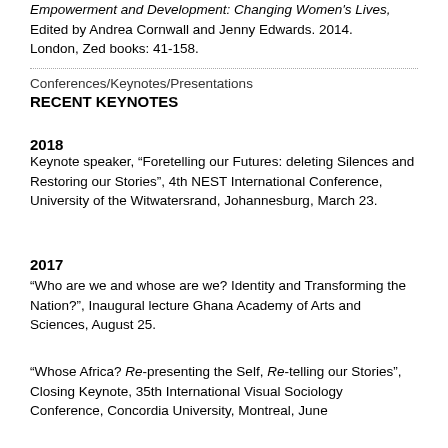Empowerment and Development: Changing Women's Lives, Edited by Andrea Cornwall and Jenny Edwards. 2014. London, Zed books: 41-158.
Conferences/Keynotes/Presentations
RECENT KEYNOTES
2018
Keynote speaker, “Foretelling our Futures: deleting Silences and Restoring our Stories”, 4th NEST International Conference, University of the Witwatersrand, Johannesburg, March 23.
2017
“Who are we and whose are we? Identity and Transforming the Nation?”, Inaugural lecture Ghana Academy of Arts and Sciences, August 25.
“Whose Africa? Re-presenting the Self, Re-telling our Stories”, Closing Keynote, 35th International Visual Sociology Conference, Concordia University, Montreal, June